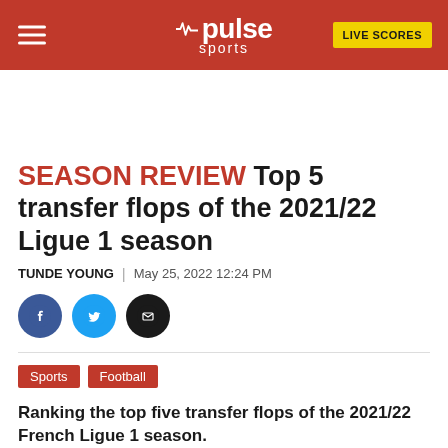pulse sports | LIVE SCORES
SEASON REVIEW Top 5 transfer flops of the 2021/22 Ligue 1 season
TUNDE YOUNG | May 25, 2022 12:24 PM
[Figure (illustration): Social share icons: Facebook, Twitter, Email]
Sports
Football
Ranking the top five transfer flops of the 2021/22 French Ligue 1 season.